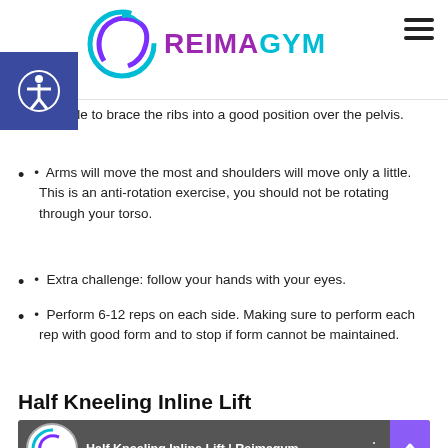REIMAGYM
Exhale to brace the ribs into a good position over the pelvis.
Arms will move the most and shoulders will move only a little. This is an anti-rotation exercise, you should not be rotating through your torso.
Extra challenge: follow your hands with your eyes.
Perform 6-12 reps on each side. Making sure to perform each rep with good form and to stop if form cannot be maintained.
Half Kneeling Inline Lift
[Figure (screenshot): Video thumbnail for 'Half Kneeling Inline Lift | Reimagym...' with Reimagym logo on left and gym background]